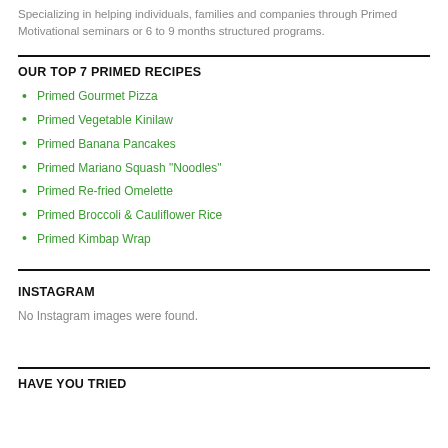Specializing in helping individuals, families and companies through Primed Motivational seminars or 6 to 9 months structured programs.
OUR TOP 7 PRIMED RECIPES
Primed Gourmet Pizza
Primed Vegetable Kinilaw
Primed Banana Pancakes
Primed Mariano Squash "Noodles"
Primed Re-fried Omelette
Primed Broccoli & Cauliflower Rice
Primed Kimbap Wrap
INSTAGRAM
No Instagram images were found.
HAVE YOU TRIED